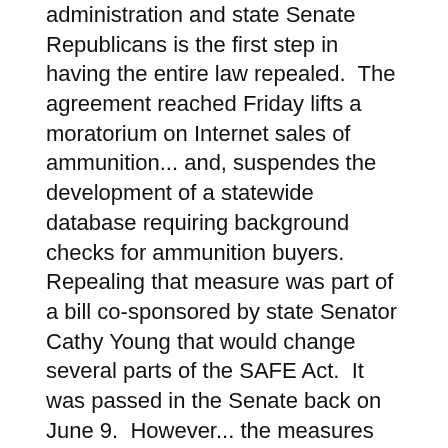administration and state Senate Republicans is the first step in having the entire law repealed.  The agreement reached Friday lifts a moratorium on Internet sales of ammunition... and, suspendes the development of a statewide database requiring background checks for ammunition buyers.  Repealing that measure was part of a bill co-sponsored by state Senator Cathy Young that would change several parts of the SAFE Act.  It was passed in the Senate back on June 9.  However... the measures went nowhere in the Democrat-controlled Assembly.
Horrigan says plans for North County Water District moving foward...
Plans to form a North County Water District are moving onto the next step... but, without the village of Fredonia.  That from Chautauqua County Executive Vince Horrigan... who announced the decision at a meeting of the Chadwick Bay Regional Development Corporation